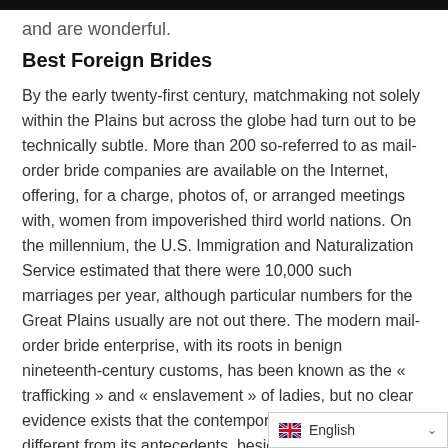and are wonderful.
Best Foreign Brides
By the early twenty-first century, matchmaking not solely within the Plains but across the globe had turn out to be technically subtle. More than 200 so-referred to as mail-order bride companies are available on the Internet, offering, for a charge, photos of, or arranged meetings with, women from impoverished third world nations. On the millennium, the U.S. Immigration and Naturalization Service estimated that there were 10,000 such marriages per year, although particular numbers for the Great Plains usually are not out there. The modern mail-order bride enterprise, with its roots in benign nineteenth-century customs, has been known as the « trafficking » and « enslavement » of ladies, but no clear evidence exists that the contemporary incarnation is different from its antecedents, besides that profits from a single enterprise can exceed $500